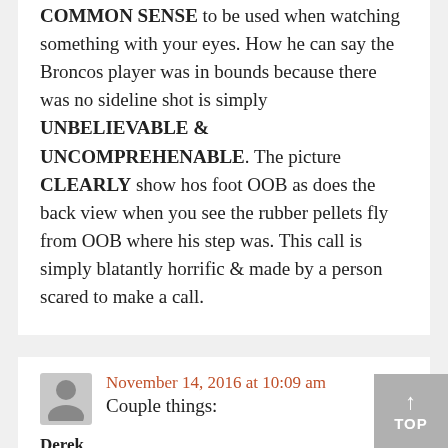COMMON SENSE to be used when watching something with your eyes. How he can say the Broncos player was in bounds because there was no sideline shot is simply UNBELIEVABLE & UNCOMPREHENABLE. The picture CLEARLY show hos foot OOB as does the back view when you see the rubber pellets fly from OOB where his step was. This call is simply blatantly horrific & made by a person scared to make a call.
November 14, 2016 at 10:09 am
Couple things:
Derek
I agree, no good angle to overview defensi... point. HL has unobstructed view and I will gerer...